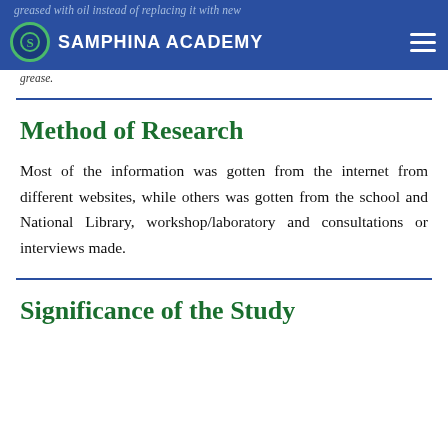greased with oil instead of replacing it with new grease.
SAMPHINA ACADEMY
Method of Research
Most of the information was gotten from the internet from different websites, while others was gotten from the school and National Library, workshop/laboratory and consultations or interviews made.
Significance of the Study